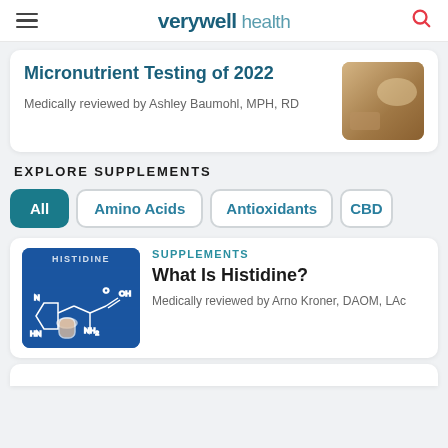verywell health
Micronutrient Testing of 2022
Medically reviewed by Ashley Baumohl, MPH, RD
EXPLORE SUPPLEMENTS
All
Amino Acids
Antioxidants
CBD
SUPPLEMENTS
What Is Histidine?
Medically reviewed by Arno Kroner, DAOM, LAc
[Figure (illustration): Histidine chemical structure diagram on blue background with molecular formula drawn on chalkboard]